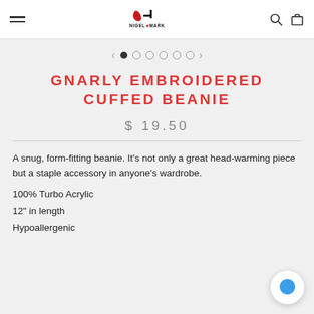Nigel Mark — navigation header with logo, menu, search and cart icons
[Figure (other): Image carousel navigation with left/right arrows and 6 dot indicators, first dot active]
GNARLY EMBROIDERED CUFFED BEANIE
$ 19.50
A snug, form-fitting beanie. It's not only a great head-warming piece but a staple accessory in anyone's wardrobe.
100% Turbo Acrylic
12" in length
Hypoallergenic